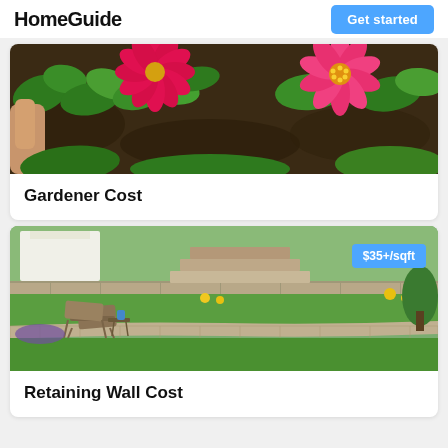HomeGuide
[Figure (photo): Close-up of red/pink zinnia flowers with green leaves and dark mulch soil, with a hand visible at left.]
Gardener Cost
[Figure (photo): Landscaped garden with stone retaining wall terraces, lawn chairs, green lawn, and flowering plants. Price badge shows $35+/sqft.]
Retaining Wall Cost